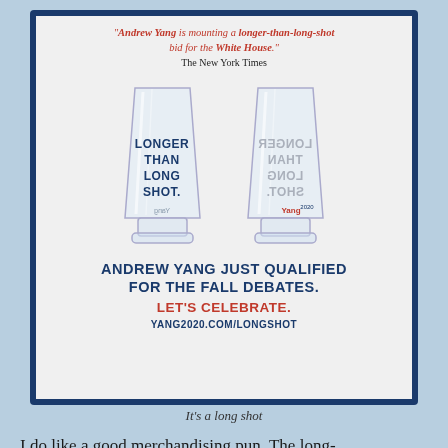[Figure (photo): Andrew Yang campaign advertisement showing two shot glasses with 'LONGER THAN LONG SHOT.' text, one facing forward and one mirrored, with Yang 2020 logo]
It's a long shot
I do like a good merchandising pun. The long-